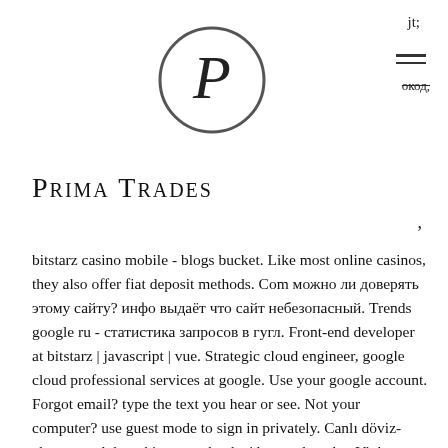jt;
[Figure (logo): Prima Trades logo: letter P inside a circle]
Prima Trades
bitstarz casino mobile - blogs bucket. Like most online casinos, they also offer fiat deposit methods. Com можно ли доверять этому сайту? инфо выдаёт что сайт небезопасный. Trends google ru - статистика запросов в гугл. Front-end developer at bitstarz | javascript | vue. Strategic cloud engineer, google cloud professional services at google. Use your google account. Forgot email? type the text you hear or see. Not your computer? use guest mode to sign in privately. Canlı döviz-altın-euro-dolar takip - google play'de uygulamalar. Vinkyy poker istatistikleri çevrimiçi ,iha: nevşehir'de kumar operasyonu. Ücretsiz döndürme bitstarz -